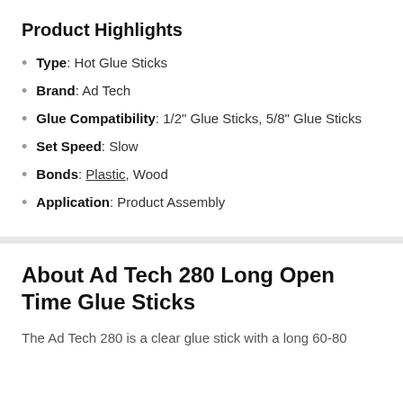Product Highlights
Type: Hot Glue Sticks
Brand: Ad Tech
Glue Compatibility: 1/2" Glue Sticks, 5/8" Glue Sticks
Set Speed: Slow
Bonds: Plastic, Wood
Application: Product Assembly
About Ad Tech 280 Long Open Time Glue Sticks
The Ad Tech 280 is a clear glue stick with a long 60-80